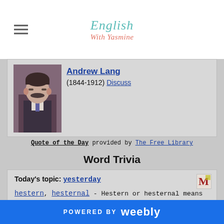English With Yasmine
[Figure (photo): Portrait photo of Andrew Lang, sepia/dark toned, man with mustache in Victorian-era clothing]
Andrew Lang (1844-1912) Discuss
Quote of the Day provided by The Free Library
Word Trivia
Today's topic: yesterday
hestern, hesternal - Hestern or hesternal means "pertaining to yesterday." More...
nudiustertian - Pertaining to the day before yesterday. More...
pridian - "Of or relating to a previous day or yesterday; former." More...
POWERED BY weebly